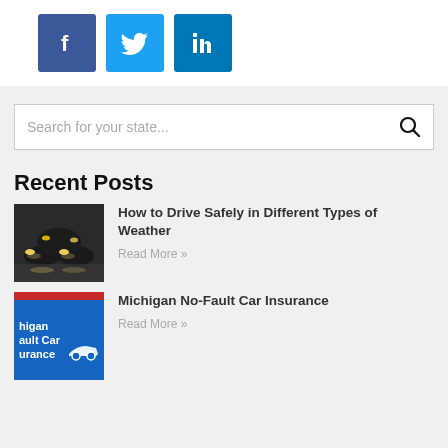[Figure (logo): Social media share buttons: Facebook (dark blue), Twitter (light blue), LinkedIn (medium blue)]
Search for your state...
Recent Posts
[Figure (photo): Cars driving in rainy/foggy weather at night with headlights on]
How to Drive Safely in Different Types of Weather
Read More »
[Figure (photo): Michigan No-Fault Car Insurance text on blue background with car icon]
Michigan No-Fault Car Insurance
Read More »